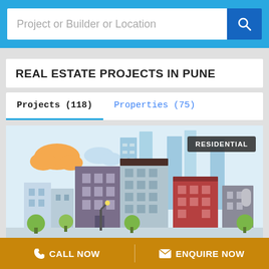Project or Builder or Location
REAL ESTATE PROJECTS IN PUNE
Projects (118)   Properties (75)
[Figure (illustration): Flat-style illustration of a city skyline with multiple buildings of varying heights and colors including purple, dark red, gray and light blue skyscrapers, green trees, and street lamps. An orange cloud shape appears top left. A dark badge reads RESIDENTIAL in the top right.]
Austin County
CALL NOW   ENQUIRE NOW